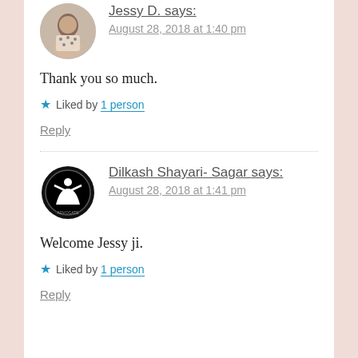[Figure (photo): Avatar photo of Jessy D., a woman in a polka dot outfit]
Jessy D. says:
August 28, 2018 at 1:40 pm
Thank you so much.
Liked by 1 person
Reply
[Figure (logo): Dilkash Shayari-Sagar advocate logo, black oval with white figure]
Dilkash Shayari- Sagar says:
August 28, 2018 at 1:41 pm
Welcome Jessy ji.
Liked by 1 person
Reply